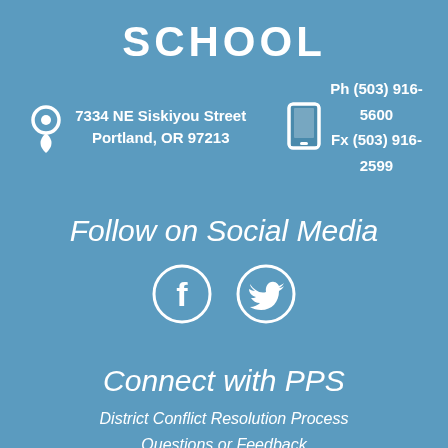SCHOOL
7334 NE Siskiyou Street
Portland, OR 97213
Ph (503) 916-5600
Fx (503) 916-2599
Follow on Social Media
[Figure (illustration): Facebook and Twitter circle icons for social media]
Connect with PPS
District Conflict Resolution Process
Questions or Feedback